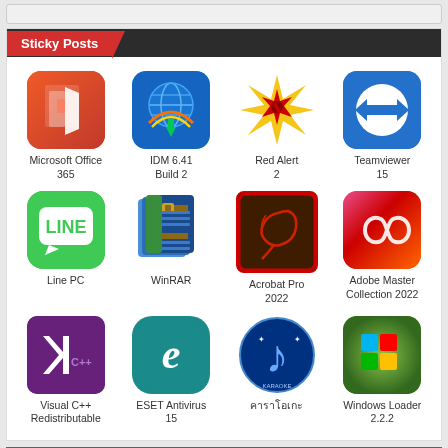Sticky Posts
[Figure (infographic): Grid of 12 software application icons with labels: Microsoft Office 365, IDM 6.41 Build 2, Red Alert 2, Teamviewer 15, Line PC, WinRAR, Acrobat Pro 2022, Adobe Master Collection 2022, Visual C++ Redistributable, ESET Antivirus 15, คาราโอเกะ, Windows Loader 2.2.2]
โปรแกรมฟรีแวร์